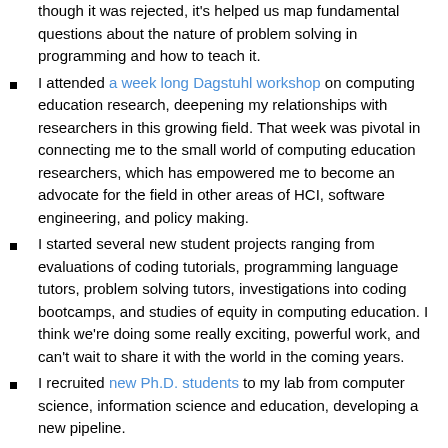though it was rejected, it's helped us map fundamental questions about the nature of problem solving in programming and how to teach it.
I attended a week long Dagstuhl workshop on computing education research, deepening my relationships with researchers in this growing field. That week was pivotal in connecting me to the small world of computing education researchers, which has empowered me to become an advocate for the field in other areas of HCI, software engineering, and policy making.
I started several new student projects ranging from evaluations of coding tutorials, programming language tutors, problem solving tutors, investigations into coding bootcamps, and studies of equity in computing education. I think we're doing some really exciting, powerful work, and can't wait to share it with the world in the coming years.
I recruited new Ph.D. students to my lab from computer science, information science and education, developing a new pipeline.